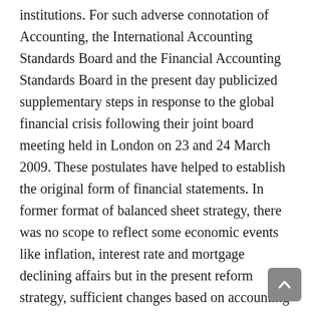institutions. For such adverse connotation of Accounting, the International Accounting Standards Board and the Financial Accounting Standards Board in the present day publicized supplementary steps in response to the global financial crisis following their joint board meeting held in London on 23 and 24 March 2009. These postulates have helped to establish the original form of financial statements. In former format of balanced sheet strategy, there was no scope to reflect some economic events like inflation, interest rate and mortgage declining affairs but in the present reform strategy, sufficient changes based on accounting implication have been made with so many revolutionary altercations. In reference to global financial crisis, the IASB was accepted in 2001 and is the standard-setting establishment of the International Accounting Standards Committee Foundation, half foundation...